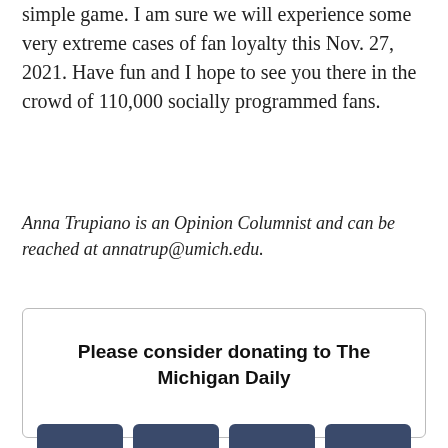simple game. I am sure we will experience some very extreme cases of fan loyalty this Nov. 27, 2021. Have fun and I hope to see you there in the crowd of 110,000 socially programmed fans.
Anna Trupiano is an Opinion Columnist and can be reached at annatrup@umich.edu.
Please consider donating to The Michigan Daily
$10  $25  $50  Other